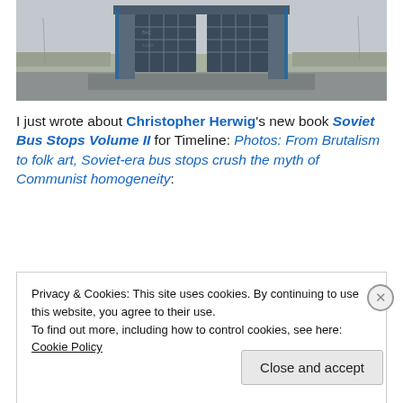[Figure (photo): Photo of a Soviet-era bus stop structure with blue metal frame grid panels, set against a flat rural landscape with bare fields and overcast sky.]
I just wrote about Christopher Herwig's new book Soviet Bus Stops Volume II for Timeline: Photos: From Brutalism to folk art, Soviet-era bus stops crush the myth of Communist homogeneity:
Privacy & Cookies: This site uses cookies. By continuing to use this website, you agree to their use.
To find out more, including how to control cookies, see here: Cookie Policy
Close and accept